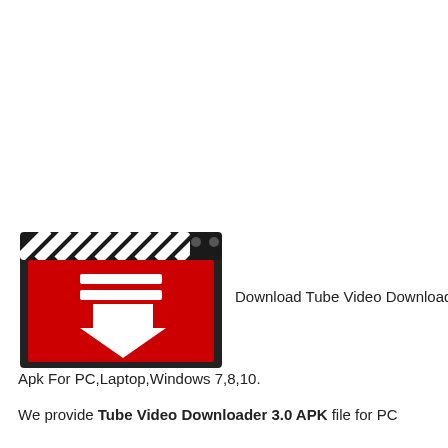[Figure (logo): Tube Video Downloader app icon: a film clapperboard top with black and white diagonal stripes, and a red square body containing a white download arrow and two white horizontal bars above it. Dark border around the icon.]
Download Tube Video Downloader Apk For PC,Laptop,Windows 7,8,10.
We provide Tube Video Downloader 3.0 APK file for PC